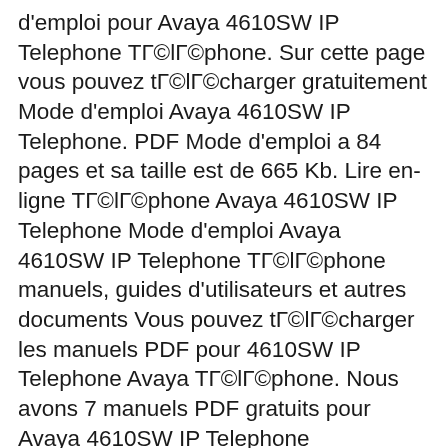d'emploi pour Avaya 4610SW IP Telephone TГ©lГ©phone. Sur cette page vous pouvez tГ©lГ©charger gratuitement Mode d'emploi Avaya 4610SW IP Telephone. PDF Mode d'emploi a 84 pages et sa taille est de 665 Kb. Lire en-ligne TГ©lГ©phone Avaya 4610SW IP Telephone Mode d'emploi Avaya 4610SW IP Telephone TГ©lГ©phone manuels, guides d'utilisateurs et autres documents Vous pouvez tГ©lГ©charger les manuels PDF pour 4610SW IP Telephone Avaya TГ©lГ©phone. Nous avons 7 manuels PDF gratuits pour Avaya 4610SW IP Telephone TГ©lГ©phone.
View and Download Avaya 4610SW user